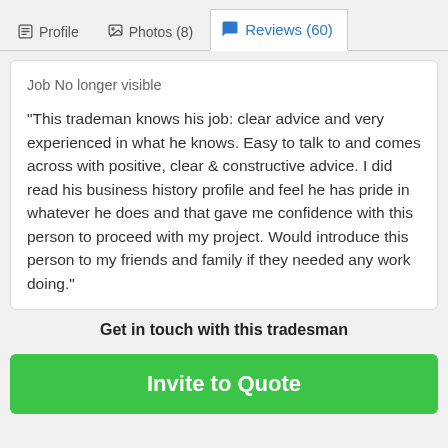Profile  |  Photos (8)  |  Reviews (60)
Job No longer visible
“This trademan knows his job: clear advice and very experienced in what he knows. Easy to talk to and comes across with positive, clear & constructive advice. I did read his business history profile and feel he has pride in whatever he does and that gave me confidence with this person to proceed with my project. Would introduce this person to my friends and family if they needed any work doing.”
Get in touch with this tradesman
Invite to Quote